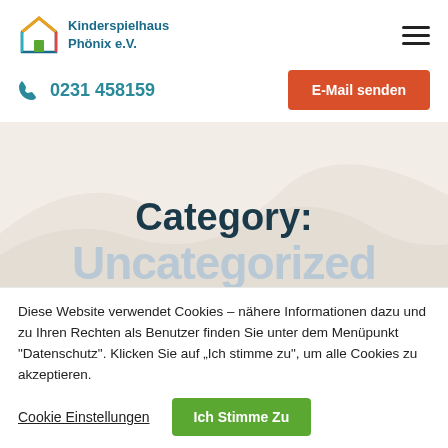Kinderspielhaus Phönix e.V.
0231 458159
E-Mail senden
Category: Uncategorized
Diese Website verwendet Cookies – nähere Informationen dazu und zu Ihren Rechten als Benutzer finden Sie unter dem Menüpunkt "Datenschutz". Klicken Sie auf „Ich stimme zu", um alle Cookies zu akzeptieren.
Cookie Einstellungen
Ich Stimme Zu